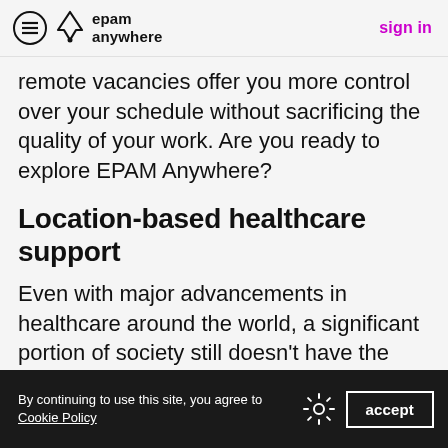epam anywhere | sign in
remote vacancies offer you more control over your schedule without sacrificing the quality of your work. Are you ready to explore EPAM Anywhere?
Location-based healthcare support
Even with major advancements in healthcare around the world, a significant portion of society still doesn't have the access they need because of prohibitive costs. Your Senior Full-stack JavaScript Developer skills mean that you can join the experts at EPAM Anywhere, who enjoy location-based
By continuing to use this site, you agree to Cookie Policy | accept